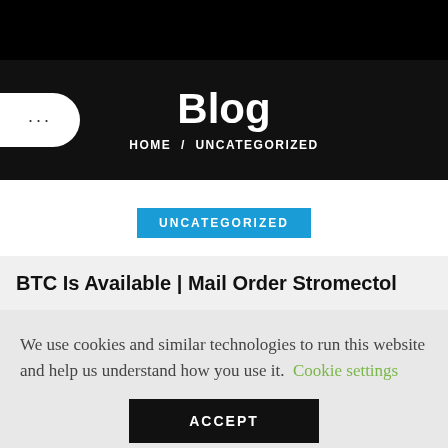Blog
HOME / UNCATEGORIZED
UNCATEGORIZED
BTC Is Available | Mail Order Stromectol
We use cookies and similar technologies to run this website and help us understand how you use it. Cookie settings
ACCEPT